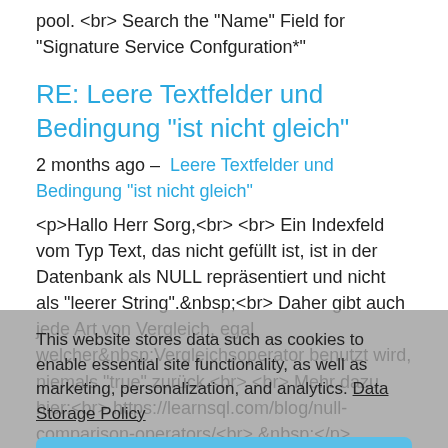pool. <br> Search the "Name" Field for "Signature Service Confguration*"
RE: Leere Textfelder und Bedingung "ist nicht gleich"
2 months ago – Leere Textfelder und Bedingung "ist nicht gleich"
<p>Hallo Herr Sorg,<br> <br> Ein Indexfeld vom Typ Text, das nicht gefüllt ist, ist in der Datenbank als NULL repräsentiert und nicht als "leerer String". <br> Daher gibt auch jede Art von Vergleich, egal welcher Vergleichsoperator benutzt wird, niemals "true" zurück.<br> <br> Mehr dazu hier:<br> https://learnsql.com/blog/null-comparison-operators/<br>  </p>
RE: Time Delay says "No Global Variables to select from"
3 months ago – Time Delay says "No Global Variables to select from"
If I recall correctly: Your CV needs to be of type Date with
This website stores data such as cookies to enable essential site functionality, as well as marketing, personalization, and analytics. Data Storage Policy
Accept
Deny